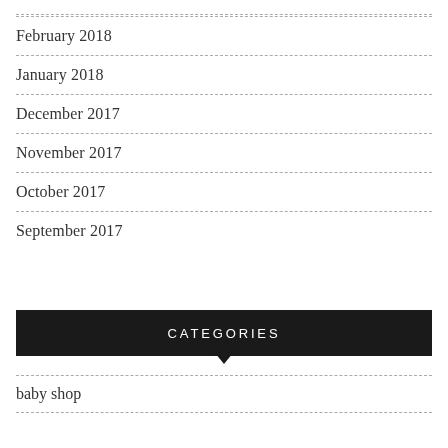February 2018
January 2018
December 2017
November 2017
October 2017
September 2017
CATEGORIES
baby shop